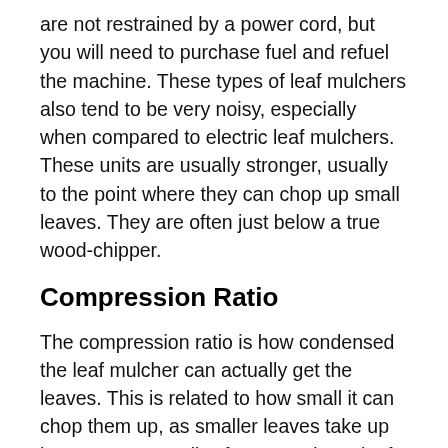are not restrained by a power cord, but you will need to purchase fuel and refuel the machine. These types of leaf mulchers also tend to be very noisy, especially when compared to electric leaf mulchers. These units are usually stronger, usually to the point where they can chop up small leaves. They are often just below a true wood-chipper.
Compression Ratio
The compression ratio is how condensed the leaf mulcher can actually get the leaves. This is related to how small it can chop them up, as smaller leaves take up less room generally. If you're using a leaf mulcher to cut down on the number of bags you need, this is an essential feature. You should look carefully at the ratio